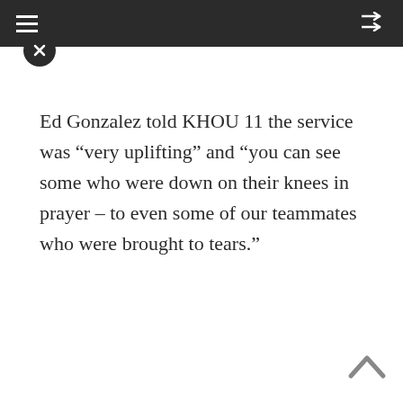≡   ⇌
Ed Gonzalez told KHOU 11 the service was “very uplifting” and “you can see some who were down on their knees in prayer – to even some of our teammates who were brought to tears.”